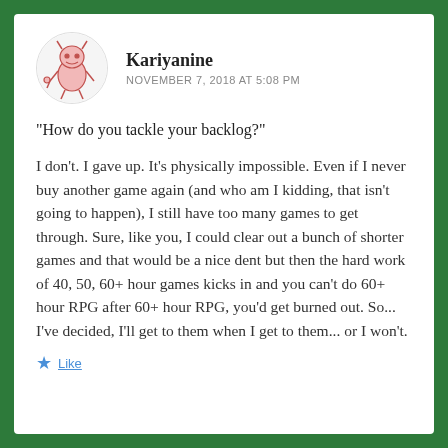Kariyanine
NOVEMBER 7, 2018 AT 5:08 PM
"How do you tackle your backlog?"
I don't. I gave up. It's physically impossible. Even if I never buy another game again (and who am I kidding, that isn't going to happen), I still have too many games to get through. Sure, like you, I could clear out a bunch of shorter games and that would be a nice dent but then the hard work of 40, 50, 60+ hour games kicks in and you can't do 60+ hour RPG after 60+ hour RPG, you'd get burned out. So... I've decided, I'll get to them when I get to them... or I won't.